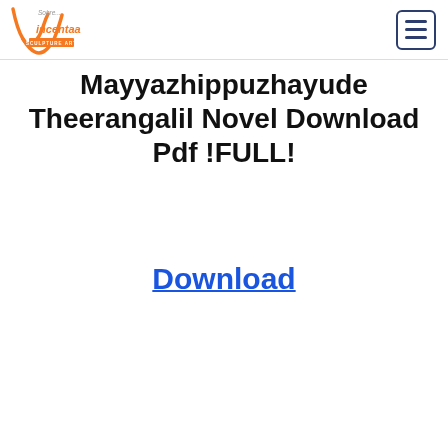Vincentaa Sculpture Art — Sobre… (logo) | Menu button
Mayyazhippuzhayude Theerangalil Novel Download Pdf !FULL!
Download